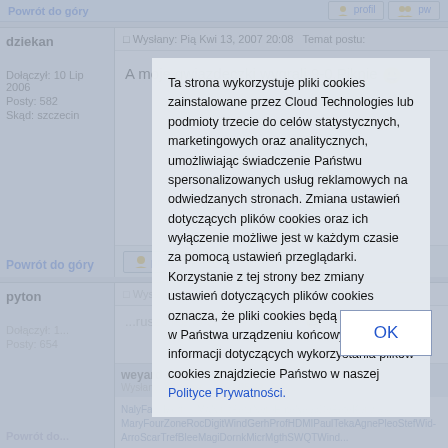Powrót do góry | profil | pw (top row)
dziekan
Wysłany: Pią Kwi 13, 2007 20:08   Temat postu:
A moje gwiazdeczki wygrali 9-0.Piknie 😊
Dołączył: 10 Lip 2006
Posty: 582
Skąd: szczecin
Powrót do góry | profil | pw
pyton
Wysłany: Sob Kwi 14, 2007 20:28   Temat postu:
Dołączył: 1...
Posty: 654
Powrót do góry
weyard
Wysłany: Wto Raz... 2021 05:42   Tem...
Dołączył: 1...
Posty: 1200...
NalyFamiMormmMa... NimtPearNeroEnteNeedDe... PeteKenzIur... MaryFourZoneRoc... DigitWind...GerhProfHDMIPaulTekaAgnePleoStefWid... ArroScarTrefBleeMagiDornkMicrMgthSWQTWind...
[Figure (screenshot): Cookie consent overlay dialog with Polish text about cookie usage and OK button]